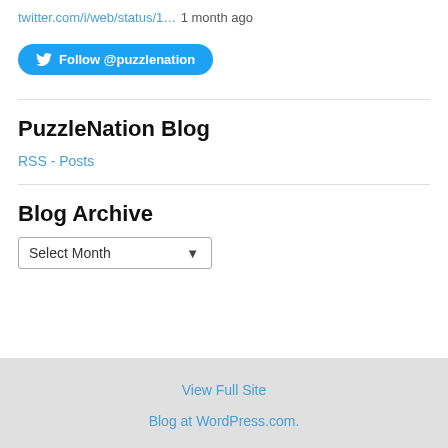twitter.com/i/web/status/1… 1 month ago
Follow @puzzlenation
PuzzleNation Blog
RSS - Posts
Blog Archive
Select Month
View Full Site
Blog at WordPress.com.